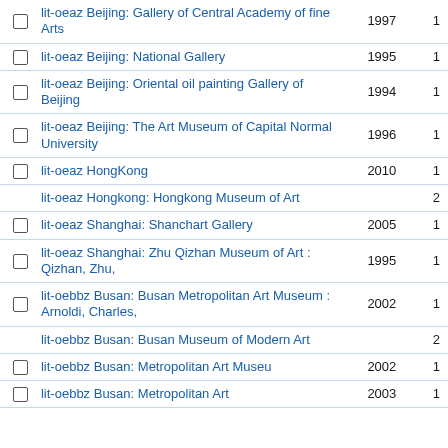|  | Title | Year | Count |
| --- | --- | --- | --- |
| ☐ | lit-oeaz Beijing: Gallery of Central Academy of fine Arts | 1997 | 1 |
| ☐ | lit-oeaz Beijing: National Gallery | 1995 | 1 |
| ☐ | lit-oeaz Beijing: Oriental oil painting Gallery of Beijing | 1994 | 1 |
| ☐ | lit-oeaz Beijing: The Art Museum of Capital Normal University | 1996 | 1 |
| ☐ | lit-oeaz HongKong | 2010 | 1 |
|  | lit-oeaz Hongkong: Hongkong Museum of Art |  | 2 |
| ☐ | lit-oeaz Shanghai: Shanchart Gallery | 2005 | 1 |
| ☐ | lit-oeaz Shanghai: Zhu Qizhan Museum of Art : Qizhan, Zhu, | 1995 | 1 |
| ☐ | lit-oebbz Busan: Busan Metropolitan Art Museum : Arnoldi, Charles, | 2002 | 1 |
|  | lit-oebbz Busan: Busan Museum of Modern Art |  | 2 |
| ☐ | lit-oebbz Busan: Metropolitan Art Museu | 2002 | 1 |
| ☐ | lit-oebbz Busan: Metropolitan Art | 2003 | 1 |